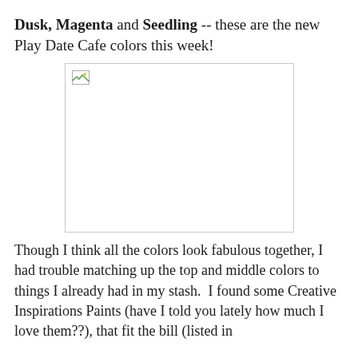Dusk, Magenta and Seedling -- these are the new Play Date Cafe colors this week!
[Figure (photo): A broken/missing image placeholder shown as an empty box with a small broken image icon in the upper-left corner.]
Though I think all the colors look fabulous together, I had trouble matching up the top and middle colors to things I already had in my stash.  I found some Creative Inspirations Paints (have I told you lately how much I love them??), that fit the bill (listed in